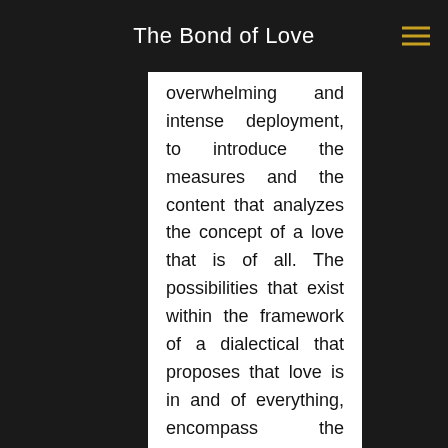The Bond of Love
overwhelming and intense deployment, to introduce the measures and the content that analyzes the concept of a love that is of all. The possibilities that exist within the framework of a dialectical that proposes that love is in and of everything, encompass the overwhelming evidence that imbues this message of love with the spiritual and physical components that constitute the imagery of a totality of All That Is. The active and aspirational